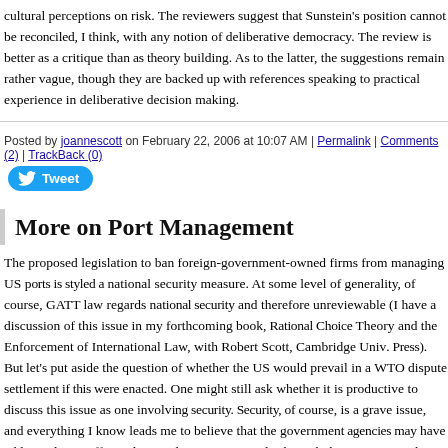cultural perceptions on risk. The reviewers suggest that Sunstein's position cannot be reconciled, I think, with any notion of deliberative democracy. The review is better as a critique than as theory building. As to the latter, the suggestions remain rather vague, though they are backed up with references speaking to practical experience in deliberative decision making.
Posted by joannescott on February 22, 2006 at 10:07 AM | Permalink | Comments (2) | TrackBack (0)
More on Port Management
The proposed legislation to ban foreign-government-owned firms from managing US ports is styled a national security measure. At some level of generality, of course, GATT law regards national security and therefore unreviewable (I have a discussion of this issue in my forthcoming book, Rational Choice Theory and the Enforcement of International Law, with Robert Scott, Cambridge Univ. Press). But let's put aside the question of whether the US would prevail in a WTO dispute settlement if this were enacted. One might still ask whether it is productive to discuss this issue as one involving security. Security, of course, is a grave issue, and everything I know leads me to believe that the government agencies may have addressed it insufficiently. But does a categorical rule excluding state-owned firms make sense given other state-owned firms (the Army, the Navy, the Air Force, the Coast Guard, the police)? Or is the problem rather the foreignness of the owning state? We rely on allied arm forces in